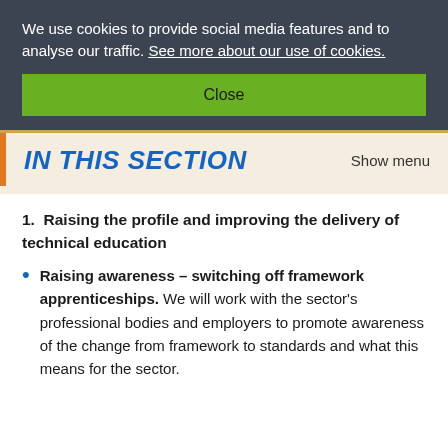We use cookies to provide social media features and to analyse our traffic. See more about our use of cookies.
Close
IN THIS SECTION
Show menu
1. Raising the profile and improving the delivery of technical education
Raising awareness – switching off framework apprenticeships. We will work with the sector's professional bodies and employers to promote awareness of the change from framework to standards and what this means for the sector.